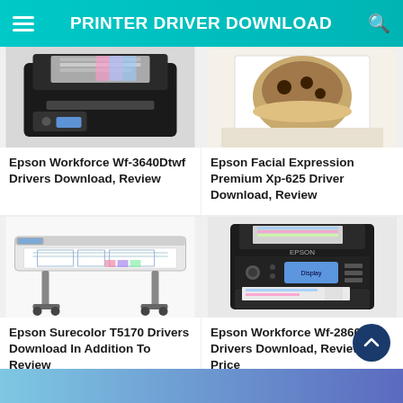PRINTER DRIVER DOWNLOAD
[Figure (photo): Epson Workforce Wf-3640Dtwf printer photo (top cropped)]
Epson Workforce Wf-3640Dtwf Drivers Download, Review
[Figure (photo): Epson Facial Expression Premium Xp-625 printer/photo print photo (top cropped)]
Epson Facial Expression Premium Xp-625 Driver Download, Review
[Figure (photo): Epson Surecolor T5170 large format printer photo]
Epson Surecolor T5170 Drivers Download In Addition To Review
[Figure (photo): Epson Workforce Wf-2860 printer photo]
Epson Workforce Wf-2860 Drivers Download, Review, Price